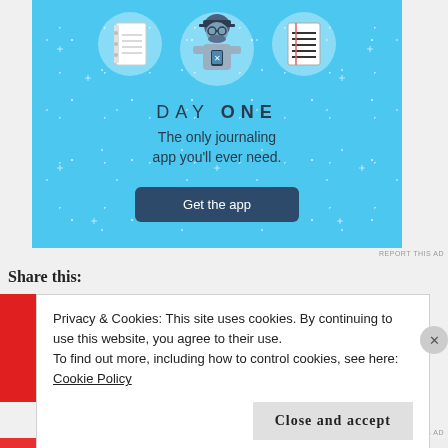[Figure (illustration): Day One journaling app advertisement with light blue background, sparkle stars, three circular icons (notebook, person using phone, notepad with lines), app name 'DAY ONE' in spaced letters, tagline 'The only journaling app you'll ever need.', and a dark blue 'Get the app' button.]
REPORT THIS AD
Share this:
Privacy & Cookies: This site uses cookies. By continuing to use this website, you agree to their use.
To find out more, including how to control cookies, see here:
Cookie Policy
Close and accept